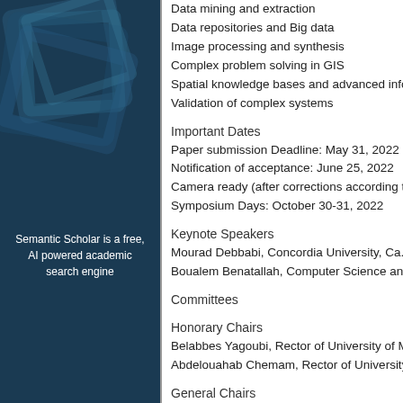[Figure (illustration): Dark blue background with geometric overlapping square/rectangle shapes in lighter blue tones. Text overlay: 'Semantic Scholar is a free, AI powered academic search engine']
Data mining and extraction
Data repositories and Big data
Image processing and synthesis
Complex problem solving in GIS
Spatial knowledge bases and advanced info...
Validation of complex systems
Important Dates
Paper submission Deadline: May 31, 2022
Notification of acceptance: June 25, 2022
Camera ready (after corrections according t...
Symposium Days: October 30-31, 2022
Keynote Speakers
Mourad Debbabi, Concordia University, Ca...
Boualem Benatallah, Computer Science an...
Committees
Honorary Chairs
Belabbes Yagoubi, Rector of University of M...
Abdelouahab Chemam, Rector of University...
General Chairs
Allaoua Chaoui, University of Constantine 2...
Salim Chikhi, University of Constantine 2 - A...
Abdelmalek Amine, University of Saida - Ta...
Steering Committee
Allaoua Chaoui, University of Constantine 2...
Salim Chikhi, University of Constantine 2...